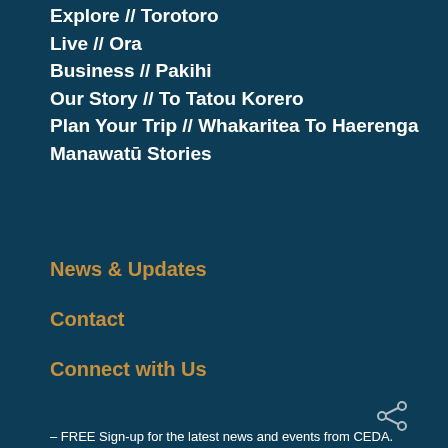Explore // Torotoro
Live // Ora
Business // Pakihi
Our Story // To Tatou Korero
Plan Your Trip // Whakaritea To Haerenga
Manawatū Stories
News & Updates
Contact
Connect with Us
[Figure (illustration): Share icon (network share symbol) in light grey/white on dark teal background]
– FREE Sign-up for the latest news and events from CEDA.